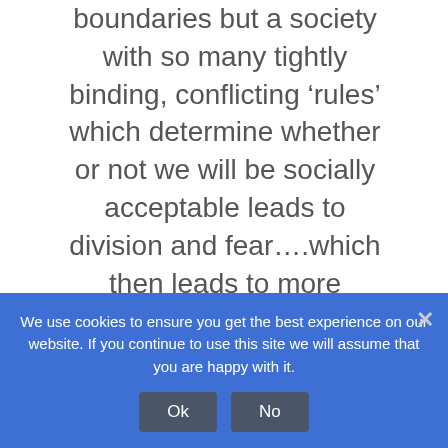boundaries but a society with so many tightly binding, conflicting ‘rules’ which determine whether or not we will be socially acceptable leads to division and fear….which then leads to more negativity.
I guess what I am saying is
We use cookies to ensure you get the best experience on our website. If you continue to use this site we will assume that you are happy with it.